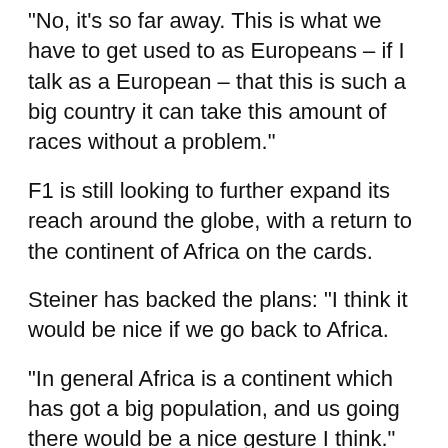“No, it’s so far away. This is what we have to get used to as Europeans – if I talk as a European – that this is such a big country it can take this amount of races without a problem.”
F1 is still looking to further expand its reach around the globe, with a return to the continent of Africa on the cards.
Steiner has backed the plans: “I think it would be nice if we go back to Africa.
“In general Africa is a continent which has got a big population, and us going there would be a nice gesture I think.”
Tags: F1  Haas  MiamiGP  Steiner